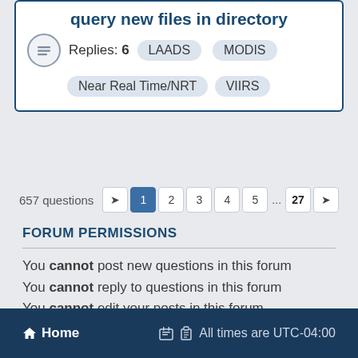query new files in directory
Replies: 6   LAADS   MODIS   Near Real Time/NRT   VIIRS
657 questions   1 2 3 4 5 ... 27 >
FORUM PERMISSIONS
You cannot post new questions in this forum
You cannot reply to questions in this forum
You cannot edit your posts in this forum
You cannot delete your posts in this forum
You cannot post attachments in this forum
Home   All times are UTC-04:00